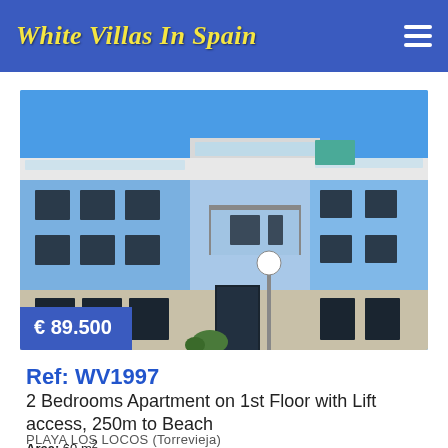White Villas In Spain
[Figure (photo): Exterior photo of a blue and white multi-storey apartment building with balconies and glass railings under a clear blue sky. A price badge shows € 89.500 in the bottom-left corner.]
€ 89.500
Ref: WV1997
2 Bedrooms Apartment on 1st Floor with Lift access, 250m to Beach
PLAYA LOS LOCOS (Torrevieja)
Area: 60 m²